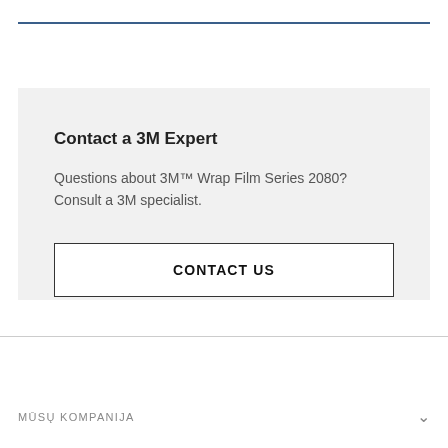Contact a 3M Expert
Questions about 3M™ Wrap Film Series 2080? Consult a 3M specialist.
CONTACT US
MŪSŲ KOMPANIJA